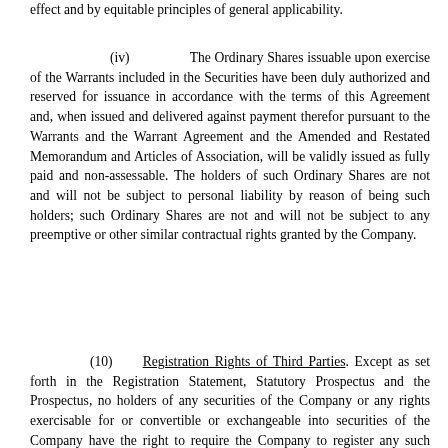effect and by equitable principles of general applicability.
(iv) The Ordinary Shares issuable upon exercise of the Warrants included in the Securities have been duly authorized and reserved for issuance in accordance with the terms of this Agreement and, when issued and delivered against payment therefor pursuant to the Warrants and the Warrant Agreement and the Amended and Restated Memorandum and Articles of Association, will be validly issued as fully paid and non-assessable. The holders of such Ordinary Shares are not and will not be subject to personal liability by reason of being such holders; such Ordinary Shares are not and will not be subject to any preemptive or other similar contractual rights granted by the Company.
(10) Registration Rights of Third Parties. Except as set forth in the Registration Statement, Statutory Prospectus and the Prospectus, no holders of any securities of the Company or any rights exercisable for or convertible or exchangeable into securities of the Company have the right to require the Company to register any such securities of the Company under the Act or to include any such